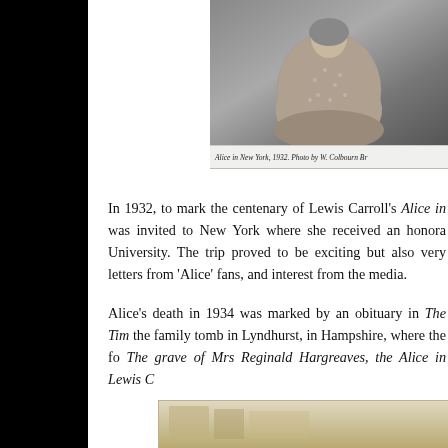[Figure (photo): Black and white photograph of Alice (Mrs Reginald Hargreaves) in New York, 1932, seated pose, photo by W. Colbourn Br[own].]
Alice in New York, 1932. Photo by W. Colbourn Br[own]
In 1932, to mark the centenary of Lewis Carroll's Alice in [Wonderland, she] was invited to New York where she received an honorary [degree from Columbia] University. The trip proved to be exciting but also very [tiring, generating] letters from 'Alice' fans, and interest from the media.
Alice's death in 1934 was marked by an obituary in The Tim[es. She was buried at] the family tomb in Lyndhurst, in Hampshire, where the fol[lowing inscription:] The grave of Mrs Reginald Hargreaves, the Alice in Lewis C[arroll's stories.]
[Figure (photo): Partial view of a second photograph, appearing to show a gravestone or outdoor scene, at the bottom of the page.]